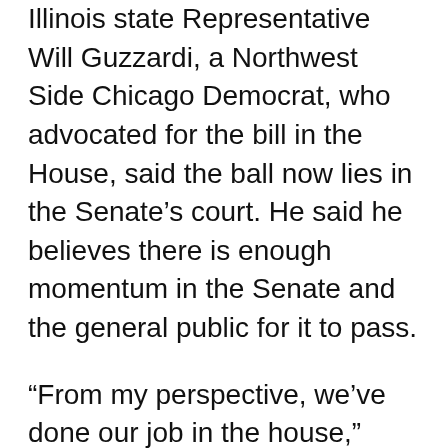Illinois state Representative Will Guzzardi, a Northwest Side Chicago Democrat, who advocated for the bill in the House, said the ball now lies in the Senate's court. He said he believes there is enough momentum in the Senate and the general public for it to pass.
“From my perspective, we’ve done our job in the house,” Guzzardi said. “We passed a good, solid bill and we’ll leave it to the Senate to see what they can come up with and if they can get it passed.”
Representative Kam Buckner, a Chicago Democrat whose district encompasses parts of downtown and the Southeast Side, filed a different bill last month in the House to meet the